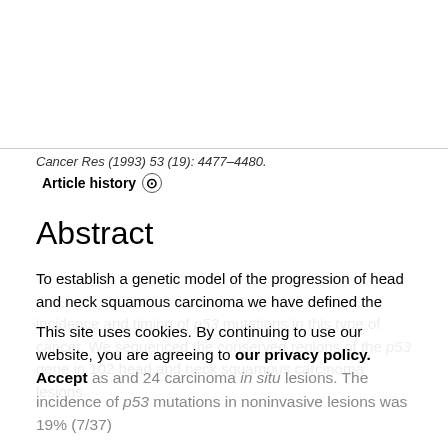Cancer Res (1993) 53 (19): 4477–4480.
Article history ⊙
Abstract
To establish a genetic model of the progression of head and neck squamous carcinoma we have defined the incidence and timing of p53 mutations in this type of cancer. We sequenced the conserved regions of the p53 gene in 102 head and neck squamous carcinoma lesions.
This site uses cookies. By continuing to use our website, you are agreeing to our privacy policy. Accept